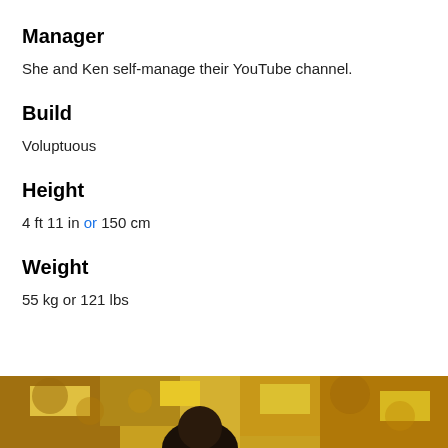Manager
She and Ken self-manage their YouTube channel.
Build
Voluptuous
Height
4 ft 11 in or 150 cm
Weight
55 kg or 121 lbs
[Figure (photo): Outdoor photo showing a person with trees with yellow/golden autumn foliage in the background, partially visible at the bottom of the page.]